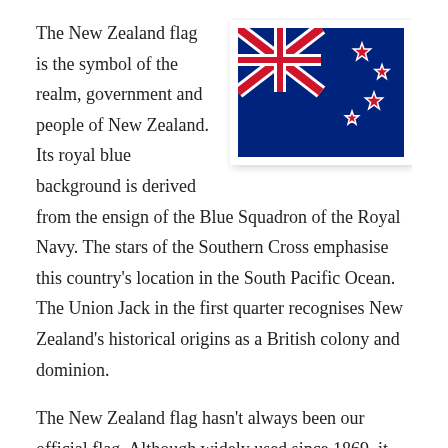[Figure (illustration): New Zealand flag: royal blue background with Union Jack in top-left quarter and four red stars of the Southern Cross outlined in white on the right side]
The New Zealand flag is the symbol of the realm, government and people of New Zealand. Its royal blue background is derived from the ensign of the Blue Squadron of the Royal Navy. The stars of the Southern Cross emphasise this country's location in the South Pacific Ocean. The Union Jack in the first quarter recognises New Zealand's historical origins as a British colony and dominion.
The New Zealand flag hasn't always been our official flag. Although widely used since 1869, it was only formally adopted in 1902 amidst the pomp and patriotism of the South African War. For six decades before that, the Union Jack fluttered from New Zealand's flagpoles. But even that wasn't our first flag. Between 1834 and 1840, the Flag of the United Tribes of New Zealand was recognised as the first 'national' flag of these islands.
New Zealand has a number of other official flags, including the